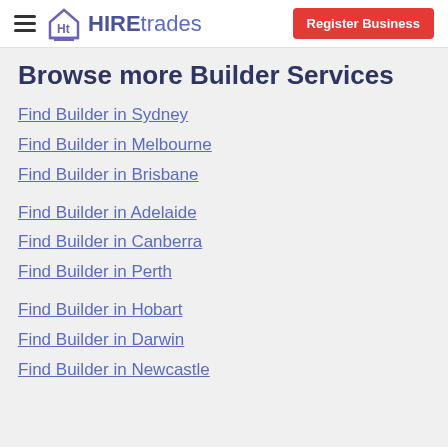HIREtrades | Register Business
Browse more Builder Services
Find Builder in Sydney
Find Builder in Melbourne
Find Builder in Brisbane
Find Builder in Adelaide
Find Builder in Canberra
Find Builder in Perth
Find Builder in Hobart
Find Builder in Darwin
Find Builder in Newcastle